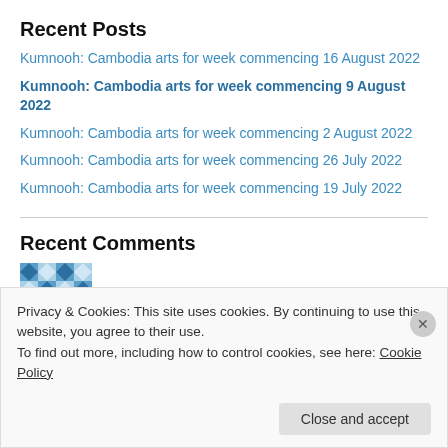Recent Posts
Kumnooh: Cambodia arts for week commencing 16 August 2022
Kumnooh: Cambodia arts for week commencing 9 August 2022
Kumnooh: Cambodia arts for week commencing 2 August 2022
Kumnooh: Cambodia arts for week commencing 26 July 2022
Kumnooh: Cambodia arts for week commencing 19 July 2022
Recent Comments
David Loris on Kumnooh: Cambodia arts for wee…
Privacy & Cookies: This site uses cookies. By continuing to use this website, you agree to their use. To find out more, including how to control cookies, see here: Cookie Policy
Close and accept